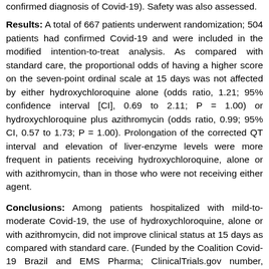confirmed diagnosis of Covid-19). Safety was also assessed.
Results: A total of 667 patients underwent randomization; 504 patients had confirmed Covid-19 and were included in the modified intention-to-treat analysis. As compared with standard care, the proportional odds of having a higher score on the seven-point ordinal scale at 15 days was not affected by either hydroxychloroquine alone (odds ratio, 1.21; 95% confidence interval [CI], 0.69 to 2.11; P = 1.00) or hydroxychloroquine plus azithromycin (odds ratio, 0.99; 95% CI, 0.57 to 1.73; P = 1.00). Prolongation of the corrected QT interval and elevation of liver-enzyme levels were more frequent in patients receiving hydroxychloroquine, alone or with azithromycin, than in those who were not receiving either agent.
Conclusions: Among patients hospitalized with mild-to-moderate Covid-19, the use of hydroxychloroquine, alone or with azithromycin, did not improve clinical status at 15 days as compared with standard care. (Funded by the Coalition Covid-19 Brazil and EMS Pharma; ClinicalTrials.gov number, NCT04322123.).